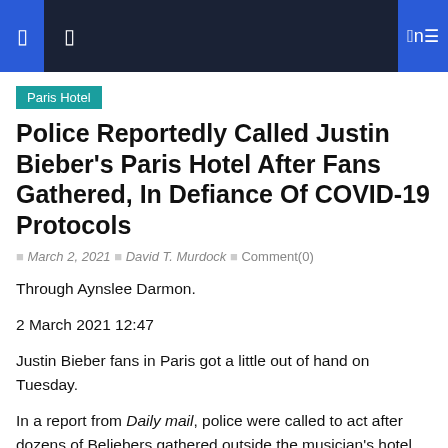navigation bar with icons
Paris Hotel
Police Reportedly Called Justin Bieber's Paris Hotel After Fans Gathered, In Defiance Of COVID-19 Protocols
March 2, 2021  David T. Murdock  Comment(0)
Through Aynslee Darmon.
2 March 2021 12:47
Justin Bieber fans in Paris got a little out of hand on Tuesday.
In a report from Daily mail, police were called to act after dozens of Beliebers gathered outside the musician's hotel, ignoring current COVID-19 protocols.
Bieber and his wife, Hailey, checked into the Mandarin